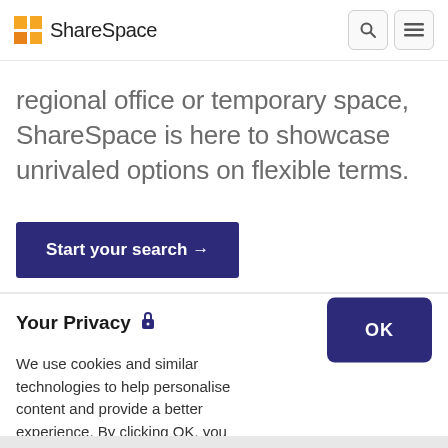ShareSpace
regional office or temporary space, ShareSpace is here to showcase unrivaled options on flexible terms.
Start your search →
Your Privacy 🔒
We use cookies and similar technologies to help personalise content and provide a better experience. By clicking OK, you agree to this, as outlined in our Cookie Policy. By clicking no, you do not agree.
OK